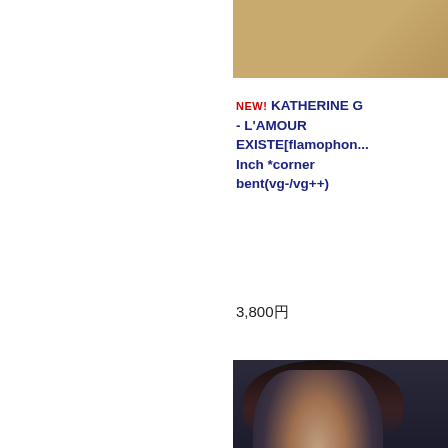[Figure (photo): Album cover thumbnail for Katherine G - L'Amour Existe, gold/brown colored image, partially visible]
NEW! KATHERINE G - L'AMOUR EXISTE[flamophon... Inch *corner bent(vg-/vg++)
3,800円
[Figure (photo): EPO album cover showing close-up face portrait of young Japanese woman with dark hair, dark background, EPO text at bottom]
NEW! EPO (国) - 12インチ[dear heart : midi]'85/2trks.7インチvg++/vg++)
690円